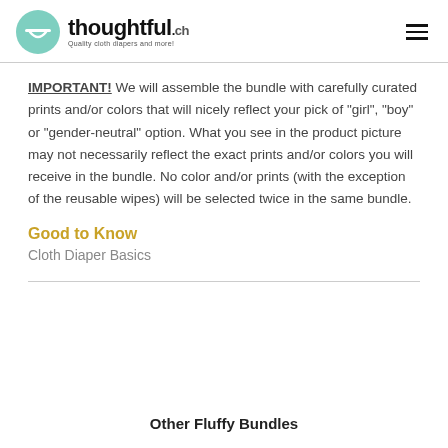thoughtful.ch — Quality cloth diapers and more!
IMPORTANT! We will assemble the bundle with carefully curated prints and/or colors that will nicely reflect your pick of "girl", "boy" or "gender-neutral" option. What you see in the product picture may not necessarily reflect the exact prints and/or colors you will receive in the bundle. No color and/or prints (with the exception of the reusable wipes) will be selected twice in the same bundle.
Good to Know
Cloth Diaper Basics
Other Fluffy Bundles